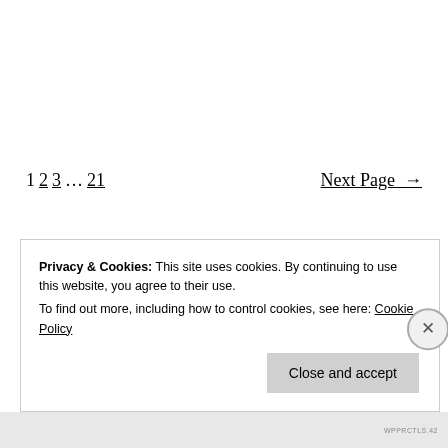1 2 3 … 21   Next Page →
Privacy & Cookies: This site uses cookies. By continuing to use this website, you agree to their use. To find out more, including how to control cookies, see here: Cookie Policy
Close and accept